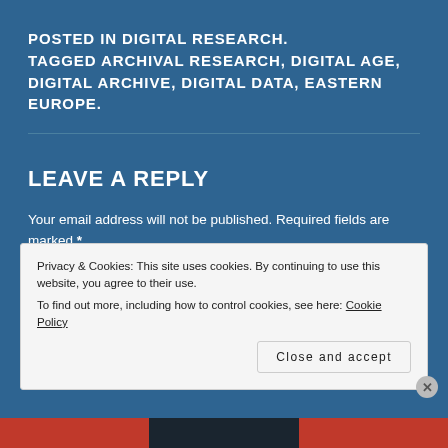POSTED IN DIGITAL RESEARCH. TAGGED ARCHIVAL RESEARCH, DIGITAL AGE, DIGITAL ARCHIVE, DIGITAL DATA, EASTERN EUROPE.
LEAVE A REPLY
Your email address will not be published. Required fields are marked *
Privacy & Cookies: This site uses cookies. By continuing to use this website, you agree to their use. To find out more, including how to control cookies, see here: Cookie Policy